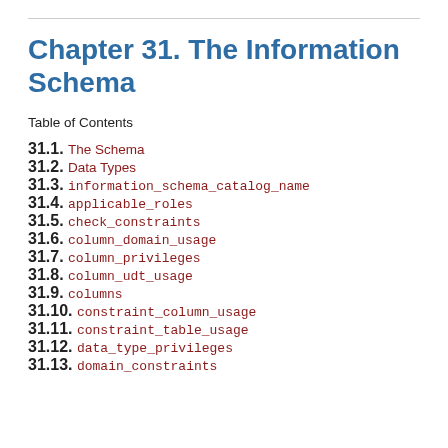Chapter 31. The Information Schema
Table of Contents
31.1. The Schema
31.2. Data Types
31.3. information_schema_catalog_name
31.4. applicable_roles
31.5. check_constraints
31.6. column_domain_usage
31.7. column_privileges
31.8. column_udt_usage
31.9. columns
31.10. constraint_column_usage
31.11. constraint_table_usage
31.12. data_type_privileges
31.13. domain_constraints